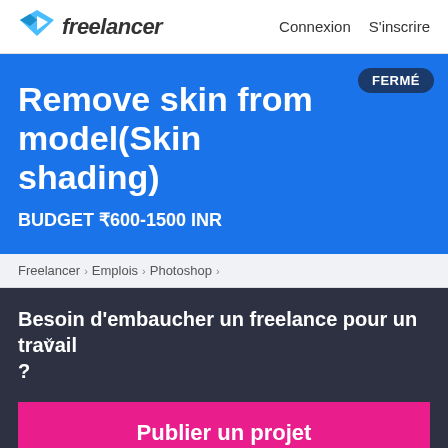freelancer   Connexion   S'inscrire
Remove skin from model(Skin shading)
BUDGET ₹600-1500 INR
FERMÉ
Freelancer › Emplois › Photoshop ›
Besoin d'embaucher un freelance pour un travail ?
Publier un projet